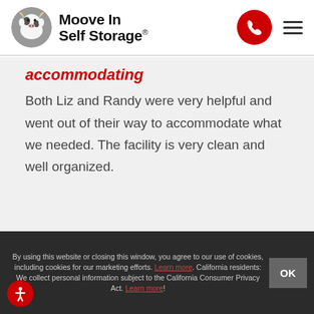[Figure (logo): Moove In Self Storage logo with cow mascot icon and bold text]
accommodating
Both Liz and Randy were very helpful and went out of their way to accommodate what we needed. The facility is very clean and well organized.
By using this website or closing this window, you agree to our use of cookies, including cookies for our marketing efforts. Learn more. California residents: We collect personal information subject to the California Consumer Privacy Act. Learn more!